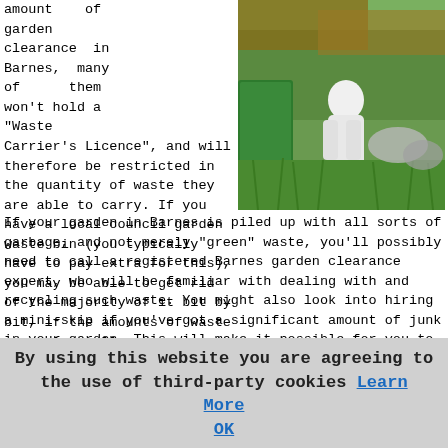amount of garden clearance in Barnes, many of them won't hold a "Waste Carrier's Licence", and will therefore be restricted in the quantity of waste they are able to carry. If you have a local council garden waste bin (you typically have to pay extra for this), you may be able to get rid of the majority of it bit by bit, if the amounts of waste are only small.
[Figure (photo): Outdoor garden clearance scene with person in white clothing among green grass and debris/garbage bags]
If your garden in Barnes is piled up with all sorts of garbage, and not merely "green" waste, you'll possibly need to call a registered Barnes garden clearance expert, who will be familiar with dealing with and recycling such waste. You might also look into hiring a mini-skip if you've got a significant amount of junk in your garden. This will make it possible for you to get rid of not only garden waste, but maybe also clear out your garage, your shed and perhaps even you attic.
By using this website you are agreeing to the use of third-party cookies Learn More  OK